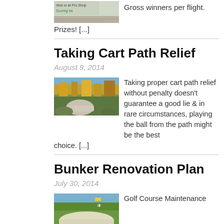[Figure (photo): Small thumbnail image of a golf registration or scoring form with green text]
Gross winners per flight.
Prizes! [...]
Taking Cart Path Relief
August 9, 2014
[Figure (photo): Photograph of an autumn golf course cart path lined with colorful fall foliage trees]
Taking proper cart path relief without penalty doesn't guarantee a good lie & in rare circumstances, playing the ball from the path might be the best choice. [...]
Bunker Renovation Plan
July 30, 2014
[Figure (photo): Photograph of a golf course bunker/sand trap]
Golf Course Maintenance